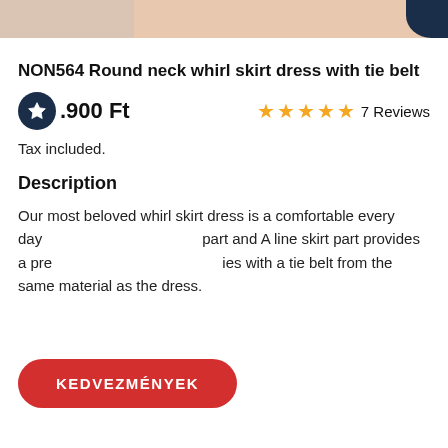[Figure (photo): Partial product photo of a dress with skin-toned background and dark navy element in top right corner]
NON564 Round neck whirl skirt dress with tie belt
.900 Ft
7 Reviews
Tax included.
Description
Our most beloved whirl skirt dress is a comfortable every day... part and A line skirt part provides a pre... ies with a tie belt from the same material as the dress.
KEDVEZMÉNYEK